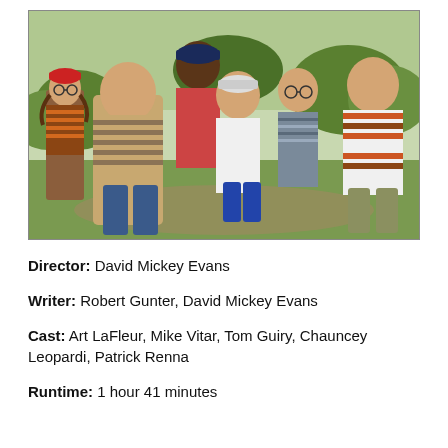[Figure (photo): Group of children posing together outdoors, smiling and laughing, wearing casual 1990s clothing including striped shirts and baseball caps, in a grassy park setting.]
Director: David Mickey Evans
Writer: Robert Gunter, David Mickey Evans
Cast: Art LaFleur, Mike Vitar, Tom Guiry, Chauncey Leopardi, Patrick Renna
Runtime: 1 hour 41 minutes